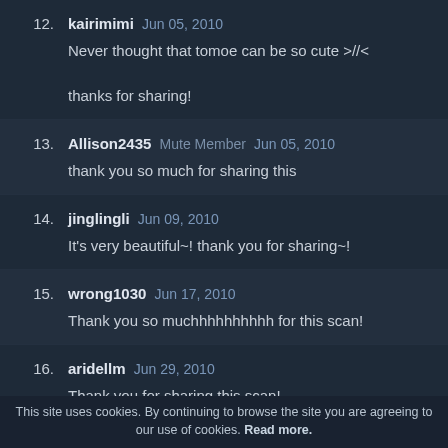12. kairimimi Jun 05, 2010
Never thought that tomoe can be so cute >//< 

thanks for sharing!
13. Allison2435 Mute Member Jun 05, 2010
thank you so much for sharing this
14. jinglingli Jun 09, 2010
It's very beautiful~! thank you for sharing~!
15. wrong1030 Jun 17, 2010
Thank you so muchhhhhhhhhh for this scan!
16. aridellm Jun 29, 2010
Thank you for sharing this scan!
17. xMiaux Jul 20, 2010 (partial)
This site uses cookies. By continuing to browse the site you are agreeing to our use of cookies. Read more.